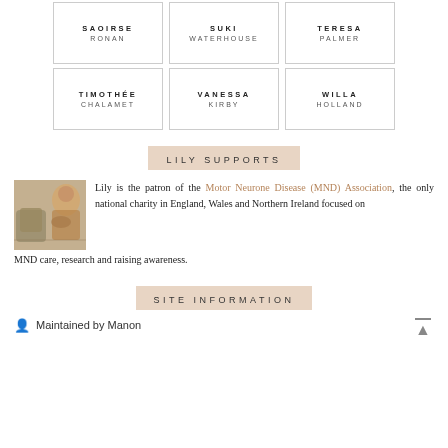| SAOIRSE
RONAN | SUKI
WATERHOUSE | TERESA
PALMER |
| TIMOTHÉE
CHALAMET | VANESSA
KIRBY | WILLA
HOLLAND |
LILY SUPPORTS
[Figure (photo): Small sepia-toned photo of Lily with candles/jars in the background]
Lily is the patron of the Motor Neurone Disease (MND) Association, the only national charity in England, Wales and Northern Ireland focused on MND care, research and raising awareness.
SITE INFORMATION
Maintained by Manon